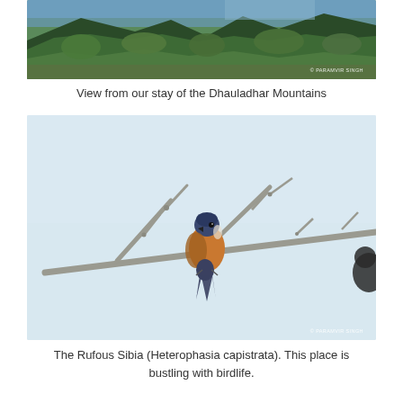[Figure (photo): Panoramic view of the Dhauladhar Mountains with dense green forest in the foreground and mountain ridges in the background. Photo credit: © PARAMVIR SINGH]
View from our stay of the Dhauladhar Mountains
[Figure (photo): A Rufous Sibia (Heterophasia capistrata) bird perched on bare branches against a light blue-grey sky. The bird has a blue-black head and wings with rufous/orange-brown body. Photo credit: © PARAMVIR SINGH]
The Rufous Sibia (Heterophasia capistrata). This place is bustling with birdlife.